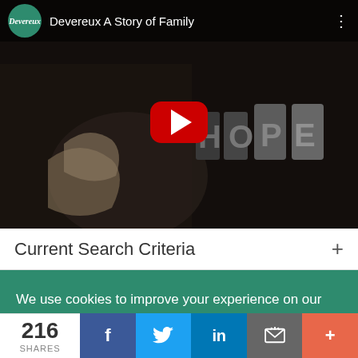[Figure (screenshot): YouTube video thumbnail showing 'Devereux A Story of Family' with a hand holding letter blocks spelling HOPE on a dark background, with a red play button in the center and the Devereux logo in the top-left corner.]
Current Search Criteria +
We use cookies to improve your experience on our site. To find out more, read our privacy policy.
216 SHARES